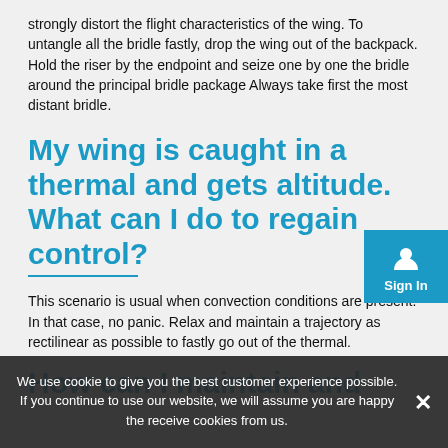strongly distort the flight characteristics of the wing. To untangle all the bridle fastly, drop the wing out of the backpack. Hold the riser by the endpoint and seize one by one the bridle around the principal bridle package Always take first the most distant bridle.
My wing is caught in a thermal and gets altitude. What can I do to regain control?
This scenario is usual when convection conditions are present. In that case, no panic. Relax and maintain a trajectory as rectilinear as possible to fastly go out of the thermal.
How can I maintain and
We use cookie to give you the best customer experience possible. If you continue to use our website, we will assume you are happy the receive cookies from us.